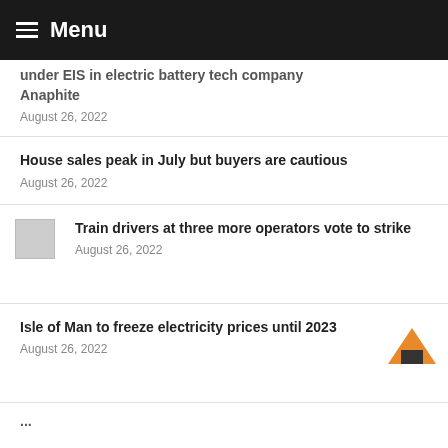Menu
under EIS in electric battery tech company Anaphite
August 26, 2022
House sales peak in July but buyers are cautious
August 26, 2022
Train drivers at three more operators vote to strike
August 26, 2022
Isle of Man to freeze electricity prices until 2023
August 26, 2022
...